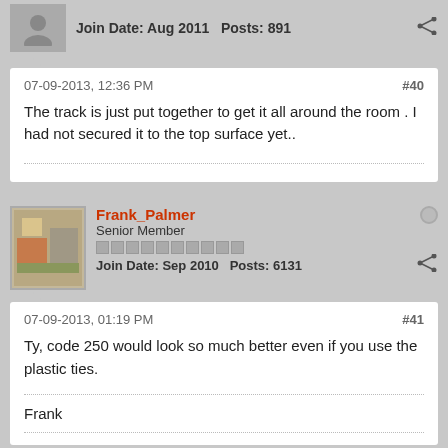Join Date: Aug 2011   Posts: 891
07-09-2013, 12:36 PM
#40
The track is just put together to get it all around the room . I had not secured it to the top surface yet..
Frank_Palmer
Senior Member
Join Date: Sep 2010   Posts: 6131
07-09-2013, 01:19 PM
#41
Ty, code 250 would look so much better even if you use the plastic ties.
Frank